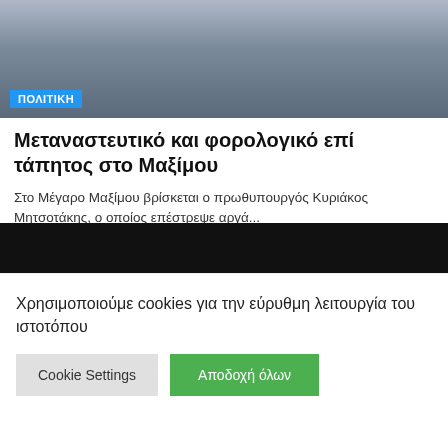[Figure (photo): News article photo of a person, partially visible, outdoors near columns or architecture. Blue badge labeled ΠΟΛΙΤΙΚΗ in lower left corner.]
Μεταναστευτικό και φορολογικό επί τάπητος στο Μαξίμου
Στο Μέγαρο Μαξίμου βρίσκεται ο πρωθυπουργός Κυριάκος Μητσοτάκης, ο οποίος επέστρεψε αργά...
NEWSROOM • ΧΡΟΝΟΣ ΑΝΑΓΝΩΣΗΣ: 1 ΄
Pagination: 1 2 3 →
Χρησιμοποιούμε cookies για την εύρυθμη λειτουργία του ιστοτόπου
Cookie Settings | Αποδοχή όλων